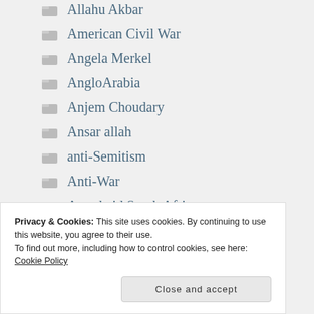Allahu Akbar
American Civil War
Angela Merkel
AngloArabia
Anjem Choudary
Ansar allah
anti-Semitism
Anti-War
Apartheid South Africa
Arab Revolt
Privacy & Cookies: This site uses cookies. By continuing to use this website, you agree to their use.
To find out more, including how to control cookies, see here: Cookie Policy
Close and accept